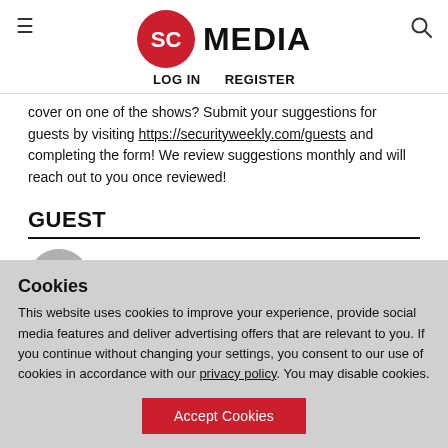[Figure (logo): SC Media logo with red circle containing 'SC' text and 'MEDIA' wordmark]
LOG IN   REGISTER
cover on one of the shows? Submit your suggestions for guests by visiting https://securityweekly.com/guests and completing the form! We review suggestions monthly and will reach out to you once reviewed!
GUEST
Allan Friedman
Cookies
This website uses cookies to improve your experience, provide social media features and deliver advertising offers that are relevant to you. If you continue without changing your settings, you consent to our use of cookies in accordance with our privacy policy. You may disable cookies.
Accept Cookies